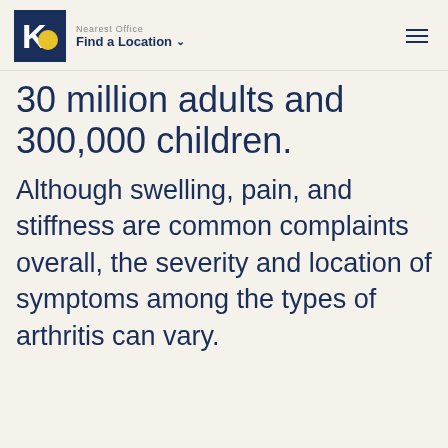Nearest Office | Find a Location
30 million adults and 300,000 children.
Although swelling, pain, and stiffness are common complaints overall, the severity and location of symptoms among the types of arthritis can vary.